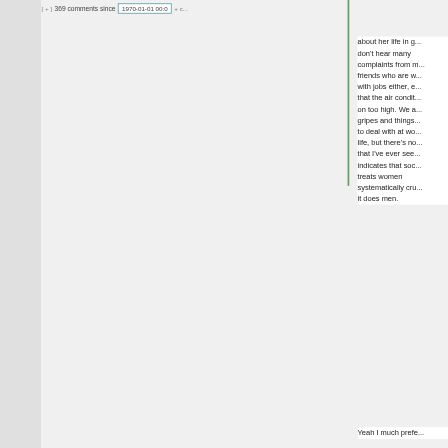[ + ]   369 comments since   1970-01-01 00:0
about her life in g... don't hear many complaints from m... friends who are w... with jobs either, e... that the air condit... on too high. We a... gripes and things... to deal with at wo... life, but there's no... that I've ever see... indicates that soc... treats women systematically cru... it does men.
Yeah I much prefe...